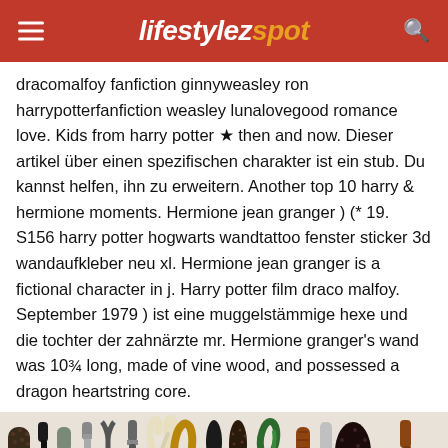lifestylezspot
dracomalfoy fanfiction ginnyweasley ron harrypotterfanfiction weasley lunalovegood romance love. Kids from harry potter ★ then and now. Dieser artikel über einen spezifischen charakter ist ein stub. Du kannst helfen, ihn zu erweitern. Another top 10 harry & hermione moments. Hermione jean granger ) (* 19. S156 harry potter hogwarts wandtattoo fenster sticker 3d wandaufkleber neu xl. Hermione jean granger is a fictional character in j. Harry potter film draco malfoy. September 1979 ) ist eine muggelstämmige hexe und die tochter der zahnärzte mr. Hermione granger's wand was 10¾ long, made of vine wood, and possessed a dragon heartstring core.
[Figure (photo): Row of various Harry Potter magic wands displayed side by side showing different styles and designs]